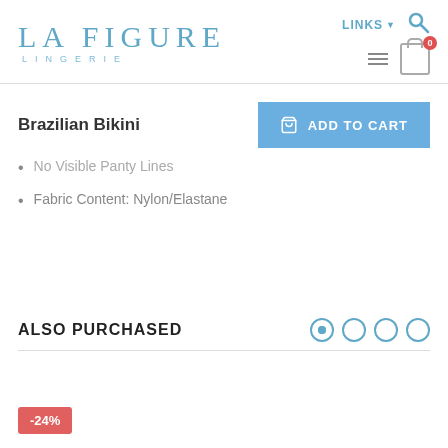LA FIGURE LINGERIE
Brazilian Bikini
No Visible Panty Lines
Fabric Content: Nylon/Elastane
ALSO PURCHASED
-24%